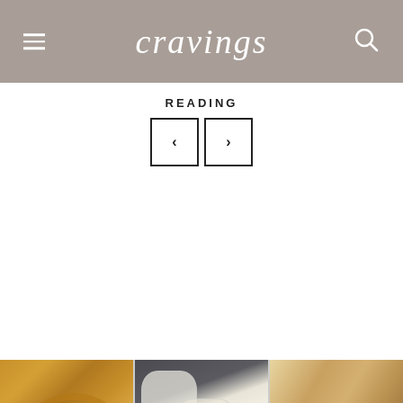cravings
READING
[Figure (screenshot): Navigation arrows: left arrow button and right arrow button]
[Figure (photo): Grid of 6 food photos: onion rings, white cocktails/drinks, baguette bread, potato salad, orange cocktail in martini glass, corn and shrimp dish]